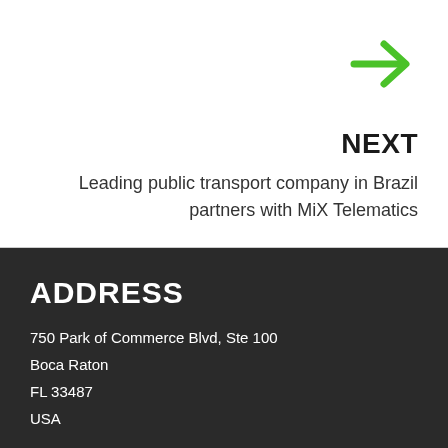[Figure (illustration): Green right-pointing arrow icon in top right corner]
NEXT
Leading public transport company in Brazil partners with MiX Telematics
ADDRESS
750 Park of Commerce Blvd, Ste 100
Boca Raton
FL 33487
USA